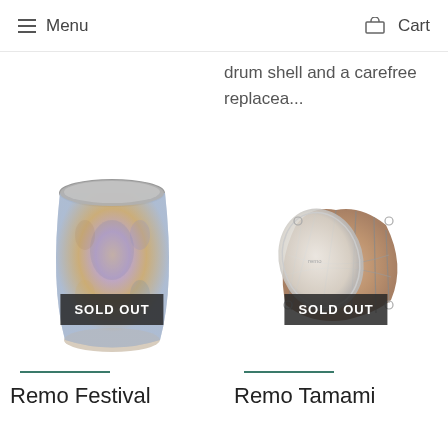Menu  Cart
drum shell and a carefree replacea...
[Figure (photo): A decorative djembe-style drum with colorful patterned fabric body and grey drumhead, with a 'SOLD OUT' badge overlay]
[Figure (photo): A Tamami/talking drum with rope-tension sides, white drumhead, and a 'SOLD OUT' badge overlay]
Remo Festival
Remo Tamami